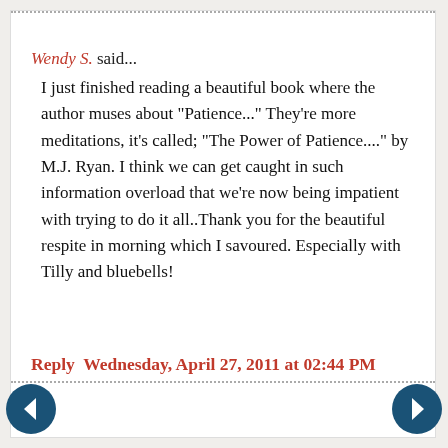Wendy S. said...
I just finished reading a beautiful book where the author muses about "Patience..." They're more meditations, it's called; "The Power of Patience...." by M.J. Ryan. I think we can get caught in such information overload that we're now being impatient with trying to do it all..Thank you for the beautiful respite in morning which I savoured. Especially with Tilly and bluebells!
Reply  Wednesday, April 27, 2011 at 02:44 PM